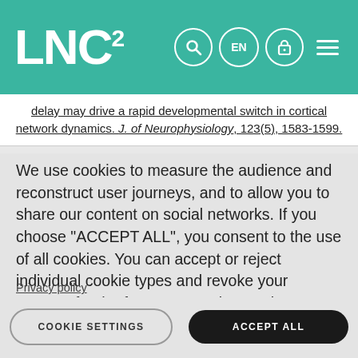LNC²
delay may drive a rapid developmental switch in cortical network dynamics. J. of Neurophysiology, 123(5), 1583-1599.
We use cookies to measure the audience and reconstruct user journeys, and to allow you to share our content on social networks. If you choose "ACCEPT ALL", you consent to the use of all cookies. You can accept or reject individual cookie types and revoke your consent for the future at any time under "Settings".
Privacy policy
Cookie Policy
COOKIE SETTINGS
ACCEPT ALL